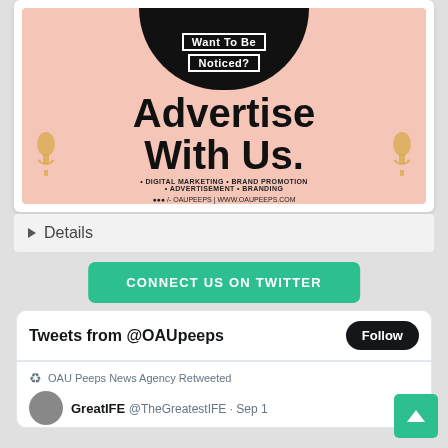[Figure (infographic): OAUPeeps advertisement banner on pink background with 'Want To Be Noticed? Advertise With Us.' text and services listed including Digital Marketing, Brand Promotion, Advertisement, Branding. Social handles: OAUPeeps | www.oaupeeps.com]
▶ Details
CONNECT US ON TWITTER
Tweets from @OAUpeeps
Follow
OAU Peeps News Agency Retweeted
GreatIFE @TheGreatestIFE · Sep 1